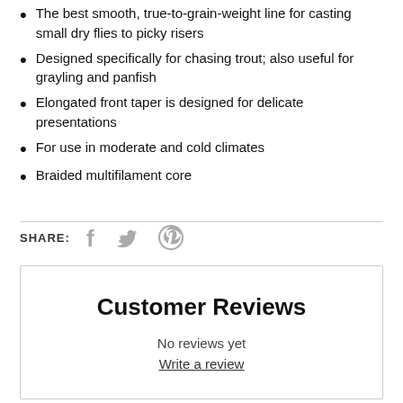The best smooth, true-to-grain-weight line for casting small dry flies to picky risers
Designed specifically for chasing trout; also useful for grayling and panfish
Elongated front taper is designed for delicate presentations
For use in moderate and cold climates
Braided multifilament core
SHARE:
Customer Reviews
No reviews yet
Write a review